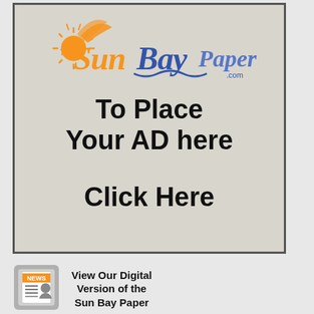[Figure (illustration): Advertisement box with The Sun Bay Paper logo at top, text 'To Place Your AD here' and 'Click Here' in large bold black text on a light gray/beige background with dark border]
[Figure (logo): News icon with orange 'NEWS' label, lines and person silhouette icon representing digital newspaper]
View Our Digital Version of the Sun Bay Paper